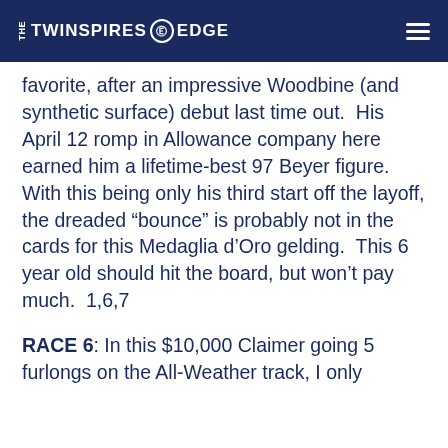THE TWINSPIRES EDGE
favorite, after an impressive Woodbine (and synthetic surface) debut last time out.  His April 12 romp in Allowance company here earned him a lifetime-best 97 Beyer figure.  With this being only his third start off the layoff, the dreaded “bounce” is probably not in the cards for this Medaglia d’Oro gelding.  This 6 year old should hit the board, but won’t pay much.  1,6,7
RACE 6: In this $10,000 Claimer going 5 furlongs on the All-Weather track, I only